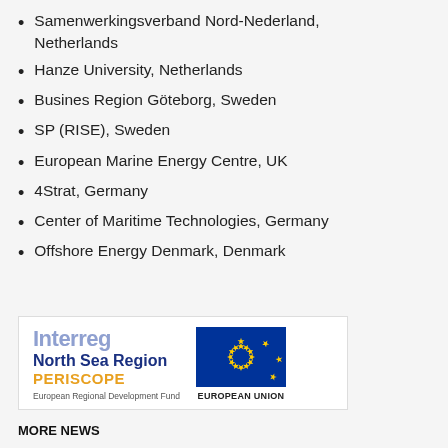Samenwerkingsverband Nord-Nederland, Netherlands
Hanze University, Netherlands
Busines Region Göteborg, Sweden
SP (RISE), Sweden
European Marine Energy Centre, UK
4Strat, Germany
Center of Maritime Technologies, Germany
Offshore Energy Denmark, Denmark
[Figure (logo): Interreg North Sea Region PERISCOPE logo alongside European Union flag and text, European Regional Development Fund]
MORE NEWS